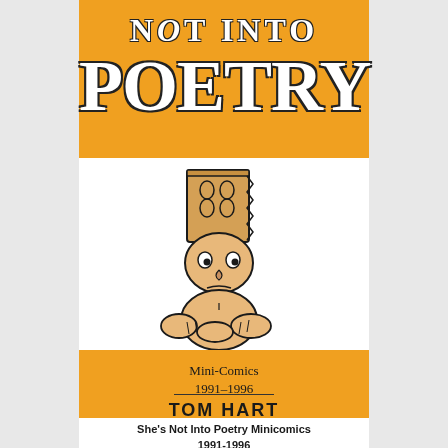[Figure (illustration): Book cover for 'Not Into Poetry' by Tom Hart. Orange top banner with large white outlined serif title text 'NOT INTO POETRY'. White middle section with a cartoon illustration of a sad-looking character wearing a tall patterned hat, with folded hands. Orange bottom banner with subtitle 'Mini-Comics 1991–1996' and author name 'TOM HART' in bold caps.]
She's Not Into Poetry Minicomics 1991-1996